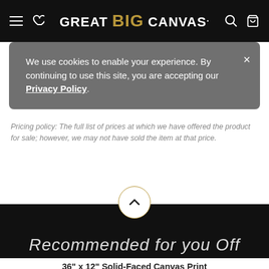GREAT BIG CANVAS.
We use cookies to enable your experience. By continuing to use this site, you are accepting our Privacy Policy.
Pricing policy: The full list of prices at which we have offered the product for sale; however, we may not have sold the item at that price.
36" x 12" Solid-Faced Canvas Print
$107.99 $179.99 40% OFF - Ends Soon!